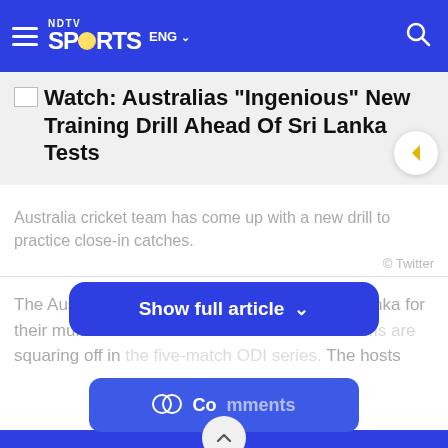NDTV SPORTS ENG
Watch: Australias "Ingenious" New Training Drill Ahead Of Sri Lanka Tests
Australia cricket team has come up with a new drill to practice close-in catches.
© Twitter
The Australian cricket team is currently in Sri Lanka for their multi-for... th teams are squaring off in the five-match ODI series. The hosts
[Figure (screenshot): Show full article button overlay with chevron down icon]
[Figure (screenshot): Comments button with speech bubble icons]
[Figure (screenshot): Scroll to top button with upward chevron]